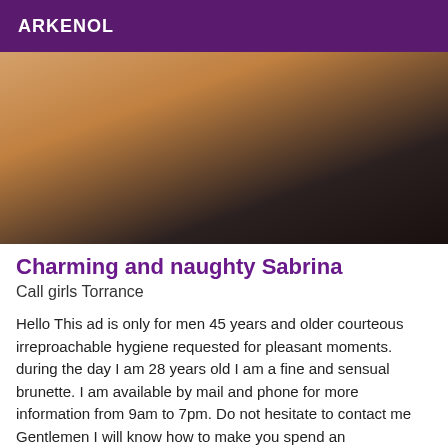ARKENOL
[Figure (photo): Close-up photo of a person's torso/shoulder area wearing a dark top, warm skin tones]
Charming and naughty Sabrina
Call girls Torrance
Hello This ad is only for men 45 years and older courteous irreproachable hygiene requested for pleasant moments. during the day I am 28 years old I am a fine and sensual brunette. I am available by mail and phone for more information from 9am to 7pm. Do not hesitate to contact me Gentlemen I will know how to make you spend an unforgettable moment of relaxation in